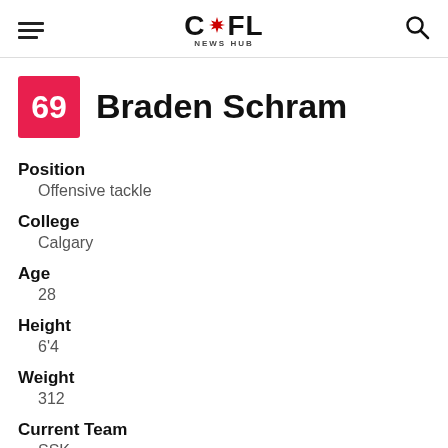CFL NEWS HUB
69 Braden Schram
Position
Offensive tackle
College
Calgary
Age
28
Height
6'4
Weight
312
Current Team
SSK
Birthday